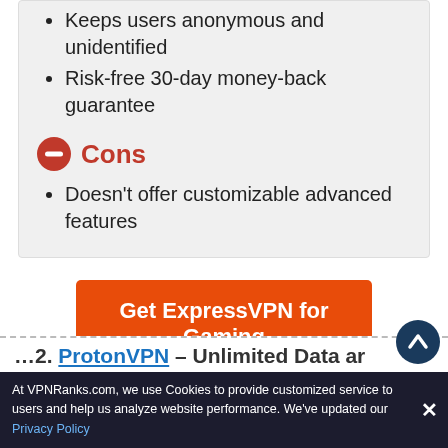Keeps users anonymous and unidentified
Risk-free 30-day money-back guarantee
Cons
Doesn't offer customizable advanced features
[Figure (other): Orange CTA button labeled 'Get ExpressVPN for Gaming']
30 Days Money Back Guarantee
2. ProtonVPN – Unlimited Data a...
At VPNRanks.com, we use Cookies to provide customized service to users and help us analyze website performance. We've updated our Privacy Policy